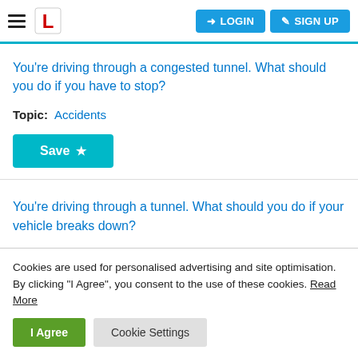LOGIN   SIGN UP
You're driving through a congested tunnel. What should you do if you have to stop?
Topic:  Accidents
Save ☆
You're driving through a tunnel. What should you do if your vehicle breaks down?
Cookies are used for personalised advertising and site optimisation. By clicking "I Agree", you consent to the use of these cookies. Read More
I Agree   Cookie Settings